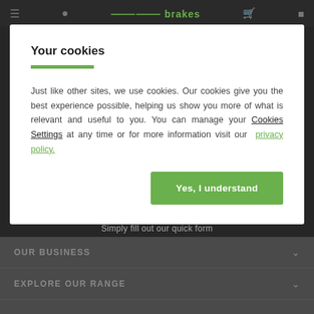brakes
Your cookies
Just like other sites, we use cookies. Our cookies give you the best experience possible, helping us show you more of what is relevant and useful to you. You can manage your Cookies Settings at any time or for more information visit our privacy policy.
Yes, I understand
Simply fill out our quick form
OUR BUSINESS
EXPLORE OUR RANGE